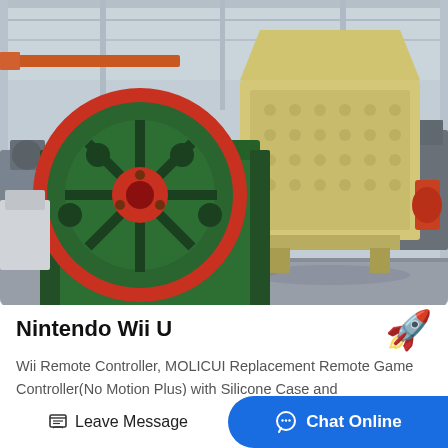[Figure (photo): Industrial factory floor showing a large green jaw crusher machine in the foreground with a red flywheel, and a yellow impact crusher machine behind it. The factory has high ceilings with industrial lighting.]
Nintendo Wii U
Wii Remote Controller, MOLICUI Replacement Remote Game Controller(No Motion Plus) with Silicone Case and
Leave Message
Chat Online